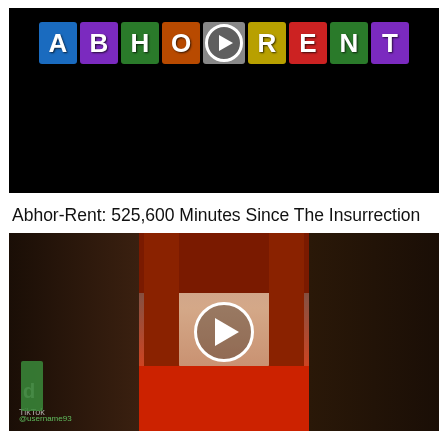[Figure (screenshot): Video thumbnail with colorful letter tiles spelling ABHORRENT on black background, with a play button icon incorporated into the letter O]
Abhor-Rent: 525,600 Minutes Since The Insurrection
[Figure (screenshot): TikTok video screenshot showing a woman with red hair wearing a red shirt, with a play button overlay in the center, TikTok logo visible in lower left]